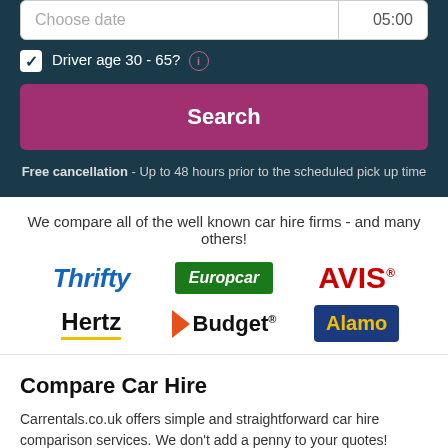Choose date | 05:00
Driver age 30 - 65? (i)
Search
Free cancellation - Up to 48 hours prior to the scheduled pick up time
We compare all of the well known car hire firms - and many others!
[Figure (logo): Thrifty car hire logo - blue italic bold text]
[Figure (logo): Europcar logo - white italic text on green background]
[Figure (logo): AVIS logo - red bold text]
[Figure (logo): Hertz logo - black bold text with yellow underline]
[Figure (logo): Budget logo - orange triangle with bold text]
[Figure (logo): Alamo logo - yellow text on dark blue background]
Compare Car Hire
Carrentals.co.uk offers simple and straightforward car hire comparison services. We don't add a penny to your quotes!